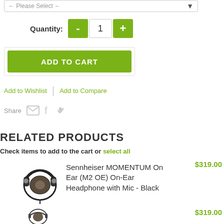[Figure (screenshot): Dropdown select box with 'Please Select' placeholder and arrow]
Quantity: - 1 +
ADD TO CART
Add to Wishlist | Add to Compare
Share (email, facebook, twitter icons)
RELATED PRODUCTS
Check items to add to the cart or select all
[Figure (photo): Sennheiser MOMENTUM On Ear headphone - Black product image]
Sennheiser MOMENTUM On Ear (M2 OE) On-Ear Headphone with Mic - Black
$319.00
$319.00